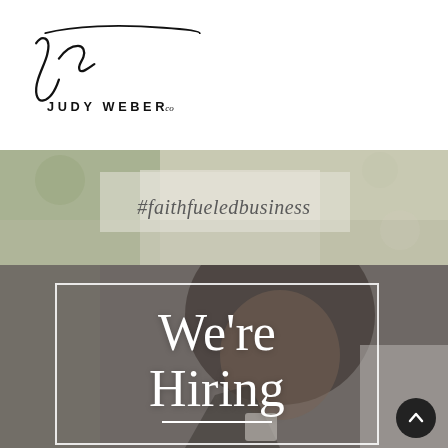[Figure (logo): Judy Weber co. script/handwritten logo with 'JUDY WEBER co' text]
[Figure (photo): Background photo banner with text '#faithfueledbusiness' overlaid on a light bokeh/outdoor scene]
#faithfueledbusiness
[Figure (photo): Photo of a smiling Black woman with curly hair holding a cup, wearing a blazer, with 'We're Hiring' text overlay and white border box]
We're Hiring